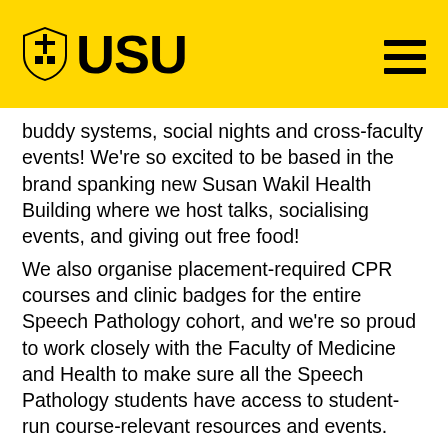USU
buddy systems, social nights and cross-faculty events! We're so excited to be based in the brand spanking new Susan Wakil Health Building where we host talks, socialising events, and giving out free food!
We also organise placement-required CPR courses and clinic badges for the entire Speech Pathology cohort, and we're so proud to work closely with the Faculty of Medicine and Health to make sure all the Speech Pathology students have access to student-run course-relevant resources and events.
We want to build awareness and change within the Allied Health Community. We passionately advocate for people with communication and swallowing disorders, across educational, community, justice, aged care, disability and